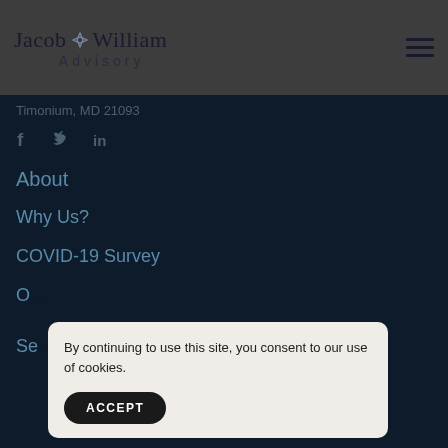Jacob William Advisory
Timonium, MD 21093
[Figure (other): Social media icons: Facebook (f), Twitter (bird), LinkedIn (in)]
About
Why Us?
COVID-19 Survey
O...
Se...
By continuing to use this site, you consent to our use of cookies.